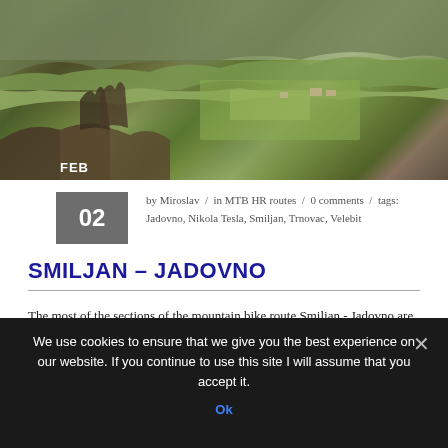[Figure (photo): Landscape photo of Middle Velebit mountain area with green fields, hills, bare trees in foreground, and scattered buildings in background]
FEB
02  by Miroslav / in MTB HR routes / 0 comments / tags: Jadovno, Nikola Tesla, Smiljan, Trnovac, Velebit
SMILJAN – JADOVNO
The most of the sections of the mountain bike route Smiljan - Jadovno are situated on Middle Velebit mountain.
READ MORE
We use cookies to ensure that we give you the best experience on our website. If you continue to use this site I will assume that you accept it.
Ok